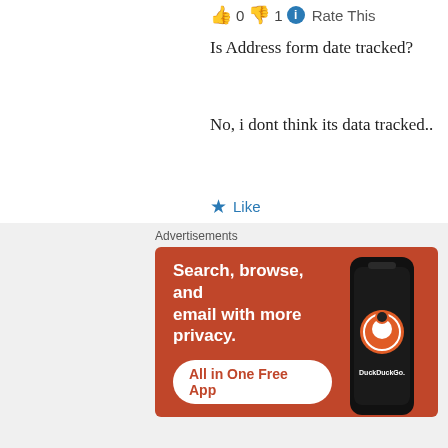👍 0 👎 1 ℹ Rate This
Is Address form date tracked?
No, i dont think its data tracked..
★ Like
REPLY
Soham
May 5, 2009 at 1:15 pm
👍 0 👎 0 ℹ Rate This
Advertisements
[Figure (infographic): DuckDuckGo advertisement banner with orange background showing text 'Search, browse, and email with more privacy. All in One Free App' alongside a smartphone displaying the DuckDuckGo logo]